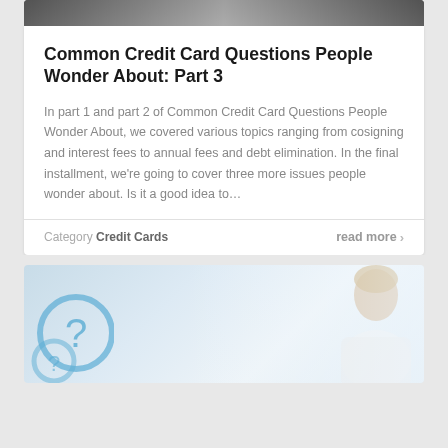[Figure (photo): Top portion of a header image for article about credit card questions, showing dark background with partial figure]
Common Credit Card Questions People Wonder About: Part 3
In part 1 and part 2 of Common Credit Card Questions People Wonder About, we covered various topics ranging from cosigning and interest fees to annual fees and debt elimination. In the final installment, we're going to cover three more issues people wonder about. Is it a good idea to...
Category Credit Cards
read more >
[Figure (photo): Bottom card image showing a light blue/white background with a question mark icon on the left and a person visible on the right side]